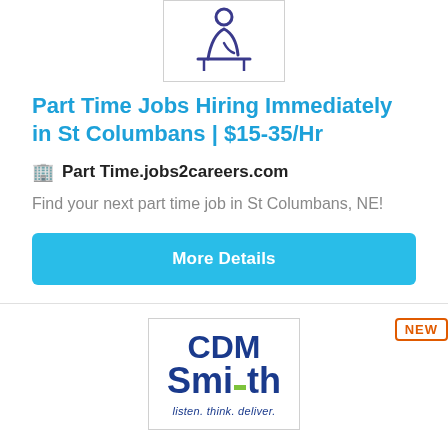[Figure (logo): Job listing logo placeholder (abstract figure at desk icon in dark blue/purple)]
Part Time Jobs Hiring Immediately in St Columbans | $15-35/Hr
🏢 Part Time.jobs2careers.com
Find your next part time job in St Columbans, NE!
More Details
NEW
[Figure (logo): CDM Smith logo with text 'CDM Smith listen. think. deliver.' in dark blue with green accent bar]
Intermediate Accountant